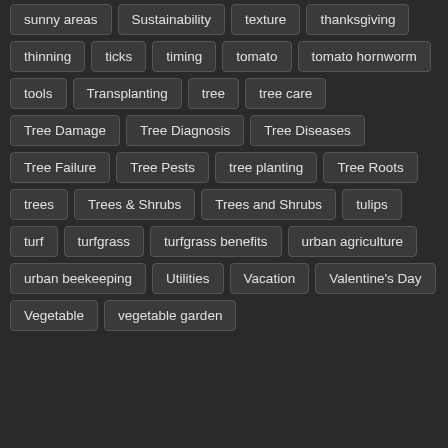sunny areas
Sustainability
texture
thanksgiving
thinning
ticks
timing
tomato
tomato hornworm
tools
Transplanting
tree
tree care
Tree Damage
Tree Diagnosis
Tree Diseases
Tree Failure
Tree Pests
tree planting
Tree Roots
trees
Trees & Shrubs
Trees and Shrubs
tulips
turf
turfgrass
turfgrass benefits
urban agriculture
urban beekeeping
Utilities
Vacation
Valentine's Day
Vegetable
vegetable garden